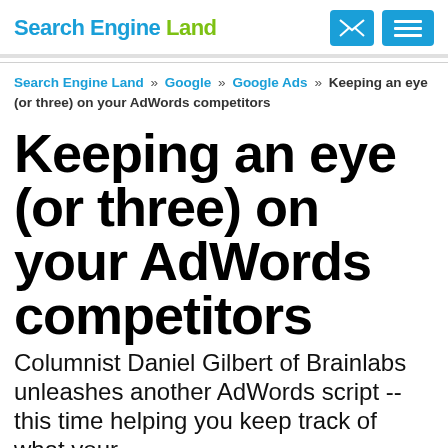Search Engine Land
Search Engine Land » Google » Google Ads » Keeping an eye (or three) on your AdWords competitors
Keeping an eye (or three) on your AdWords competitors
Columnist Daniel Gilbert of Brainlabs unleashes another AdWords script -- this time helping you keep track of what your